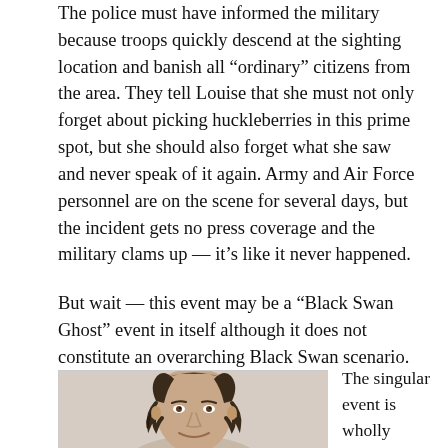The police must have informed the military because troops quickly descend at the sighting location and banish all “ordinary” citizens from the area. They tell Louise that she must not only forget about picking huckleberries in this prime spot, but she should also forget what she saw and never speak of it again. Army and Air Force personnel are on the scene for several days, but the incident gets no press coverage and the military clams up — it’s like it never happened.
But wait — this event may be a “Black Swan Ghost” event in itself although it does not constitute an overarching Black Swan scenario.
[Figure (photo): Portrait photo of a middle-aged man with curly dark hair on the sides, balding on top, smiling slightly, facing slightly left.]
The singular event is wholly unexpected, yes, but we can’t say it produces a